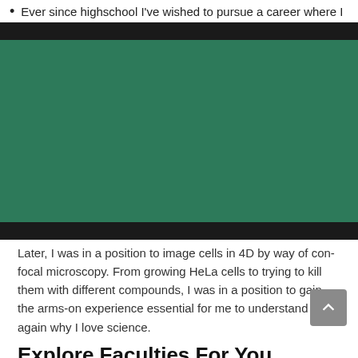Ever since highschool I've wished to pursue a career where I
[Figure (screenshot): YouTube video thumbnail for 'Kade Haan Kade Naa | Official Trailer' by Times Music. Shows a Punjabi romantic comedy film poster with two actors, a heart-eyes emoji, bold yellow text reading 'Kade haan Kade naa', '6M+' views, 'OFFICIAL TRAILER' text, and 'IN CINEMA ON 3RD DECEMBER 2021'. Play button overlay visible.]
Later, I was in a position to image cells in 4D by way of con-focal microscopy. From growing HeLa cells to trying to kill them with different compounds, I was in a position to gain the arms-on experience essential for me to understand once again why I love science.
Explore Faculties For You